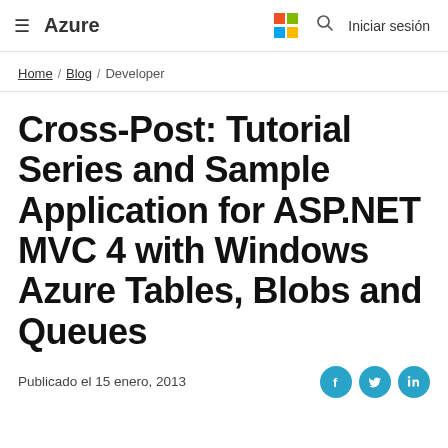Azure — Microsoft logo — Search — Iniciar sesión
Home / Blog / Developer
Cross-Post: Tutorial Series and Sample Application for ASP.NET MVC 4 with Windows Azure Tables, Blobs and Queues
Publicado el 15 enero, 2013